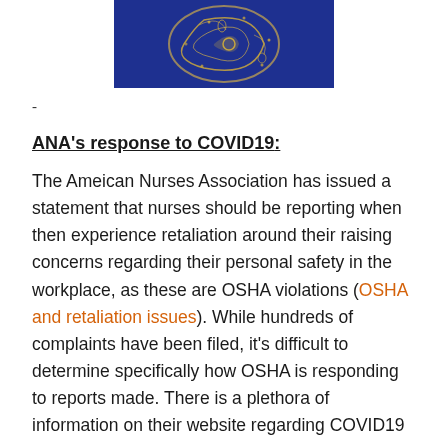[Figure (photo): Photo of dark blue fabric with gold/silver paisley embroidery detail]
-
ANA's response to COVID19:
The Ameican Nurses Association has issued a statement that nurses should be reporting when then experience retaliation around their raising concerns regarding their personal safety in the workplace, as these are OSHA violations (OSHA and retaliation issues). While hundreds of complaints have been filed, it's difficult to determine specifically how OSHA is responding to reports made. There is a plethora of information on their website regarding COVID19